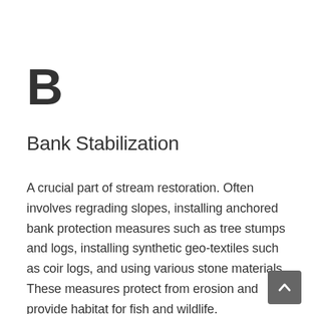B
Bank Stabilization
A crucial part of stream restoration. Often involves regrading slopes, installing anchored bank protection measures such as tree stumps and logs, installing synthetic geo-textiles such as coir logs, and using various stone materials. These measures protect from erosion and provide habitat for fish and wildlife.